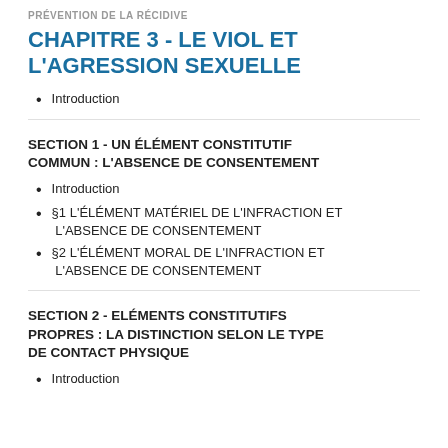PRÉVENTION DE LA RÉCIDIVE
CHAPITRE 3 - LE VIOL ET L'AGRESSION SEXUELLE
Introduction
SECTION 1 - UN ÉLÉMENT CONSTITUTIF COMMUN : L'ABSENCE DE CONSENTEMENT
Introduction
§1 L'ÉLÉMENT MATÉRIEL DE L'INFRACTION ET L'ABSENCE DE CONSENTEMENT
§2 L'ÉLÉMENT MORAL DE L'INFRACTION ET L'ABSENCE DE CONSENTEMENT
SECTION 2 - ELÉMENTS CONSTITUTIFS PROPRES : LA DISTINCTION SELON LE TYPE DE CONTACT PHYSIQUE
Introduction